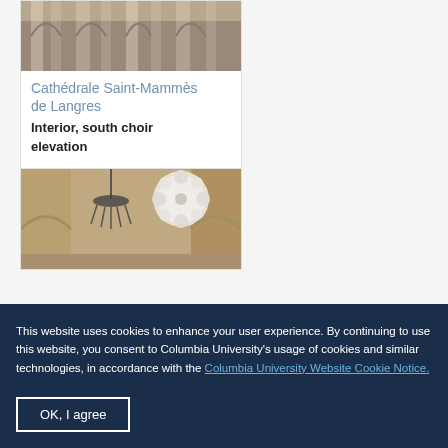[Figure (photo): Interior of a cathedral showing stone columns and arched ceiling, cropped at top]
Cathédrale Saint-Mammès de Langres
Interior, south choir elevation
[Figure (photo): Interior of a cathedral with a large rose window and chandelier]
This website uses cookies to enhance your user experience. By continuing to use this website, you consent to Columbia University's usage of cookies and similar technologies, in accordance with the Columbia University Website Cookie Notice.
OK, I agree